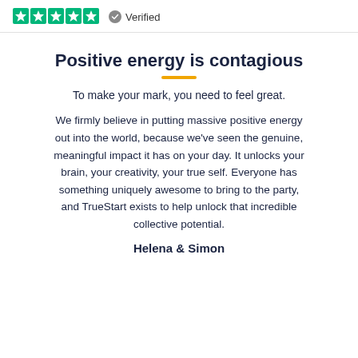[Figure (other): Five green star rating icons followed by a grey verified checkmark badge and the word 'Verified']
Positive energy is contagious
To make your mark, you need to feel great.
We firmly believe in putting massive positive energy out into the world, because we've seen the genuine, meaningful impact it has on your day. It unlocks your brain, your creativity, your true self. Everyone has something uniquely awesome to bring to the party, and TrueStart exists to help unlock that incredible collective potential.
Helena & Simon